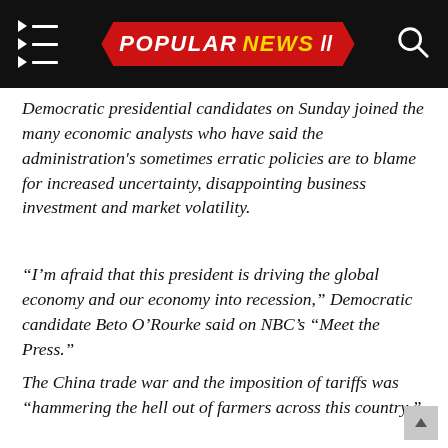POPULAR NEWS
Democratic presidential candidates on Sunday joined the many economic analysts who have said the administration's sometimes erratic policies are to blame for increased uncertainty, disappointing business investment and market volatility.
“I’m afraid that this president is driving the global economy and our economy into recession,” Democratic candidate Beto O’Rourke said on NBC’s “Meet the Press.”
The China trade war and the imposition of tariffs was “hammering the hell out of farmers across this country.”